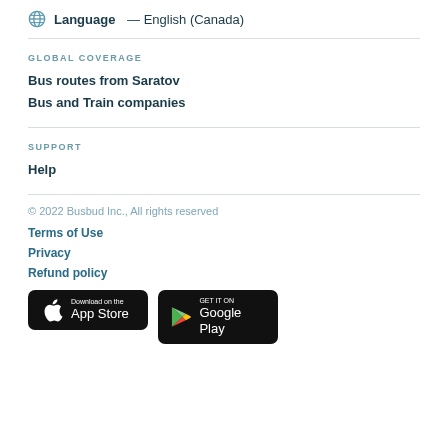Language — English (Canada)
GLOBAL COVERAGE
Bus routes from Saratov
Bus and Train companies
SUPPORT
Help
© 2022 Busbud Inc., All rights reserved
Terms of Use
Privacy
Refund policy
[Figure (logo): Download on the App Store button]
[Figure (logo): Get it on Google Play button]